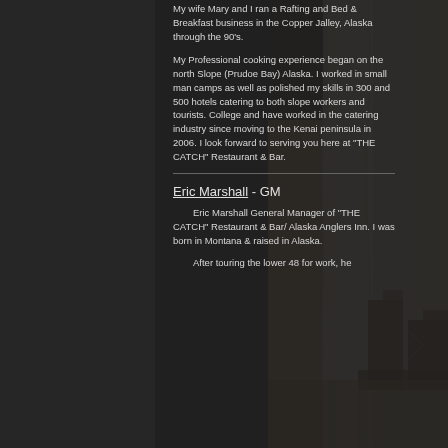My wife Mary and I ran a Rafting and Bed & Breakfast business in the Copper Jalley, Alaska through the 90's.
My Professional cooking experience began on the north Slope (Prudoe Bay) Alaska. I worked in small man camps as well as polished my skills in 300 and 500 hotels catering to both slope workers and tourists. College and have worked in the catering industry since moving to the Kenai peninsula in 2006. I look forward to serving you here at "THE CATCH" Restaurant & Bar.
Eric Marshall - GM
Eric Marshall General Manager of "THE CATCH" Restaurant & Bar/ Alaska Anglers Inn. I was born in Montana & raised in Alaska.
After touring the lower 48 for work, he
[Figure (photo): Restaurant interior photo showing white curtains, wooden chairs and tables, warm lighting, visible on the right side of the page]